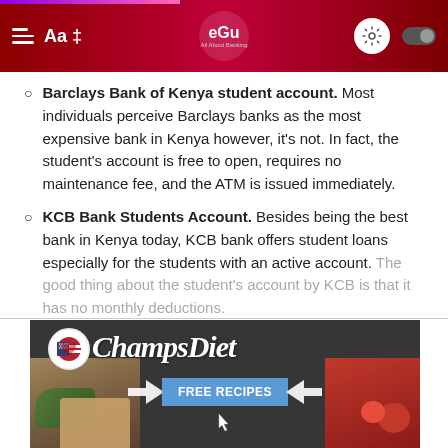Navigation bar with hamburger menu, Aa text, eGu logo, gear icon and toggle
Barclays Bank of Kenya student account. Most individuals perceive Barclays banks as the most expensive bank in Kenya however, it's not. In fact, the student's account is free to open, requires no maintenance fee, and the ATM is issued immediately.
KCB Bank Students Account. Besides being the best bank in Kenya today, KCB bank offers student loans especially for the students with an active account. The good thing about the student's account by KCB is that it has no monthly deductions.
[Figure (advertisement): ChampsDiet advertisement banner showing food items, an American flag heart logo, the brand name ChampsDiet in cursive, and a FREE RECIPES button with arrows]